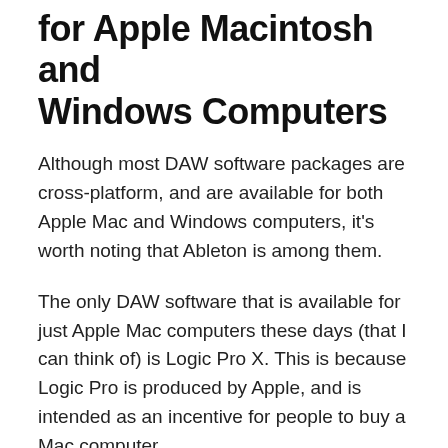for Apple Macintosh and Windows Computers
Although most DAW software packages are cross-platform, and are available for both Apple Mac and Windows computers, it's worth noting that Ableton is among them.
The only DAW software that is available for just Apple Mac computers these days (that I can think of) is Logic Pro X. This is because Logic Pro is produced by Apple, and is intended as an incentive for people to buy a Mac computer.
People starting as beginners with music production, and who are choosing a DAW to buy, are more likely to use a Windows computer. I'm